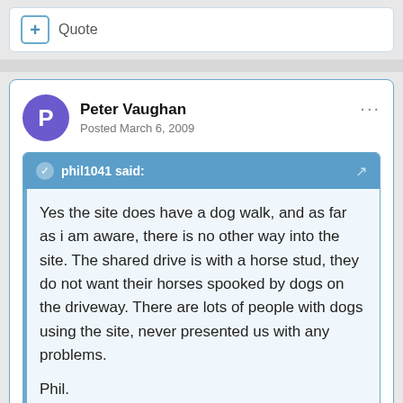+ Quote
Peter Vaughan
Posted March 6, 2009
phil1041 said:
Yes the site does have a dog walk, and as far as i am aware, there is no other way into the site. The shared drive is with a horse stud, they do not want their horses spooked by dogs on the driveway. There are lots of people with dogs using the site, never presented us with any problems.

Phil.
Thankyou Phil. The last thing I want to do is to spook the